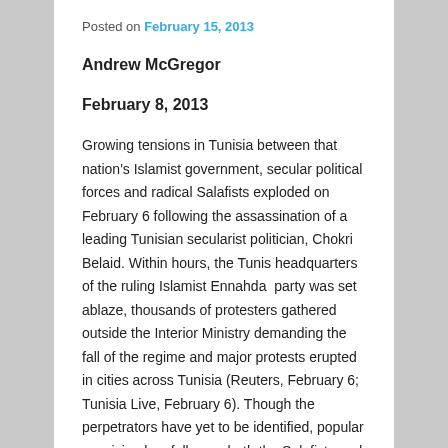Posted on February 15, 2013
Andrew McGregor
February 8, 2013
Growing tensions in Tunisia between that nation's Islamist government, secular political forces and radical Salafists exploded on February 6 following the assassination of a leading Tunisian secularist politician, Chokri Belaid. Within hours, the Tunis headquarters of the ruling Islamist Ennahda  party was set ablaze, thousands of protesters gathered outside the Interior Ministry demanding the fall of the regime and major protests erupted in cities across Tunisia (Reuters, February 6; Tunisia Live, February 6). Though the perpetrators have yet to be identified, popular suspicion has fallen on both the Salafists and Ennahda. Elements of both groups were accused by Belaid (a forceful critic of the government) of attacking a conference of Belaid's Democratic Patriots party on February 2 (AFP, February 2). The murder took place in the midst of a political crisis generated by Ennahda's need for a coalition